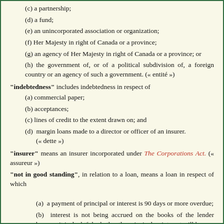(c) a partnership;
(d) a fund;
(e) an unincorporated association or organization;
(f) Her Majesty in right of Canada or a province;
(g) an agency of Her Majesty in right of Canada or a province; or
(h) the government of, or of a political subdivision of, a foreign country or an agency of such a government. (« entité »)
"indebtedness" includes indebtedness in respect of
(a) commercial paper;
(b) acceptances;
(c) lines of credit to the extent drawn on; and
(d) margin loans made to a director or officer of an insurer. (« dette »)
"insurer" means an insurer incorporated under The Corporations Act. (« assureur »)
"not in good standing", in relation to a loan, means a loan in respect of which
(a) a payment of principal or interest is 90 days or more overdue;
(b) interest is not being accrued on the books of the lender because it is doubtful whether the principal or interest will be